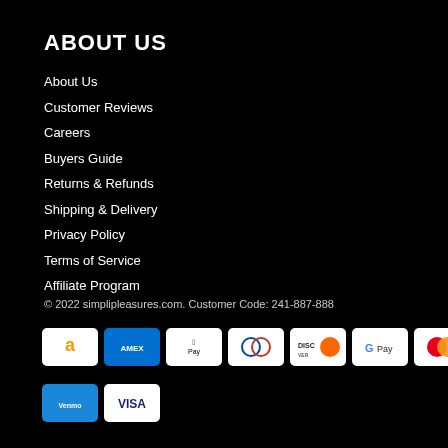ABOUT US
About Us
Customer Reviews
Careers
Buyers Guide
Returns & Refunds
Shipping & Delivery
Privacy Policy
Terms of Service
Affiliate Program
© 2022 simplipleasures.com. Customer Code: 241-887-888
[Figure (other): Payment method icons: Amazon Pay, Amex, Apple Pay, Diners Club, Discover, Google Pay, Mastercard, PayPal, Shop Pay, Venmo, Visa]